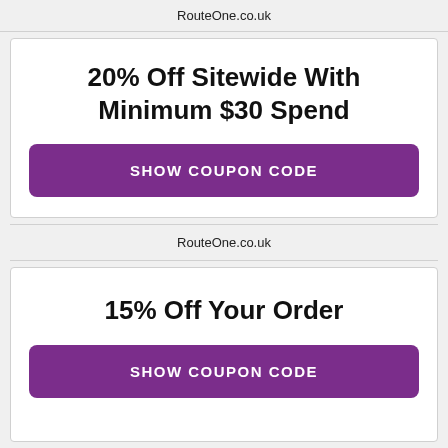RouteOne.co.uk
20% Off Sitewide With Minimum $30 Spend
SHOW COUPON CODE
RouteOne.co.uk
15% Off Your Order
SHOW COUPON CODE